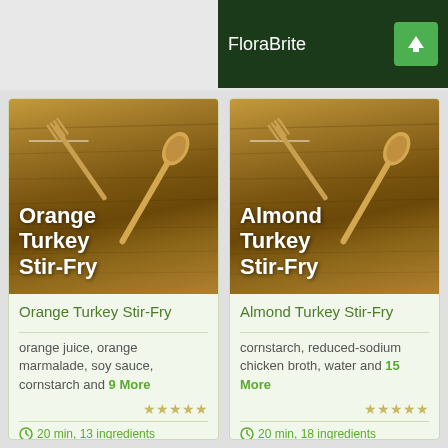FloraBrite
[Figure (screenshot): Recipe card image for Orange Turkey Stir-Fry showing wooden fork and spoon on a wood grain background with recipe title in white bold text]
Orange Turkey Stir-Fry
orange juice, orange marmalade, soy sauce, cornstarch and 9 More
20 min, 13 ingredients
[Figure (screenshot): Recipe card image for Almond Turkey Stir-Fry showing wooden fork and spoon on a wood grain background with recipe title in white bold text]
Almond Turkey Stir-Fry
cornstarch, reduced-sodium chicken broth, water and 15 More
20 min, 18 ingredients